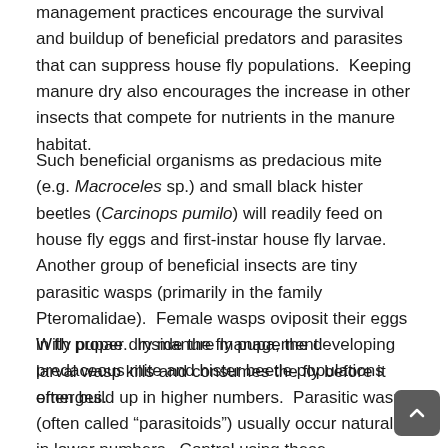management practices encourage the survival and buildup of beneficial predators and parasites that can suppress house fly populations.  Keeping manure dry also encourages the increase in other insects that compete for nutrients in the manure habitat.
Such beneficial organisms as predacious mite (e.g. Macroceles sp.) and small black hister beetles (Carcinops pumilo) will readily feed on house fly eggs and first-instar house fly larvae.  Another group of beneficial insects are tiny parasitic wasps (primarily in the family Pteromalidae).  Female wasps oviposit their eggs in fly pupae.  Inside the fly pupa, the developing larval wasp kills and consumes the fly before it emerges.
With proper dry manure management predaceous mite and hister beetle populations often build up in higher numbers.  Parasitic wasps (often called “parasitoids”) usually occur naturally in lower numbers.  Control using these parasitoids is sometimes based on mass releases of commercially reared parasitoids.  Parasitoids are currently